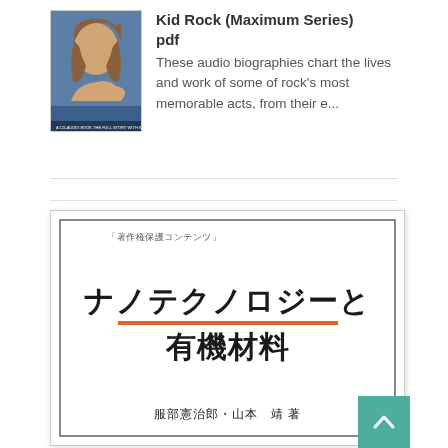[Figure (illustration): Book cover thumbnail for Kid Rock (Maximum Series) showing a young man with long hair against a blue background]
Kid Rock (Maximum Series) pdf
These audio biographies chart the lives and work of some of rock's most memorable acts, from their e...
[Figure (illustration): Japanese book cover for 'Nanotechnology and Organic Materials' by Hattori Kenjiro and Yamamoto Yasushi, white cover with large bold Japanese title text, orange underline bar, and border frame. Copyright protection content label at top.]